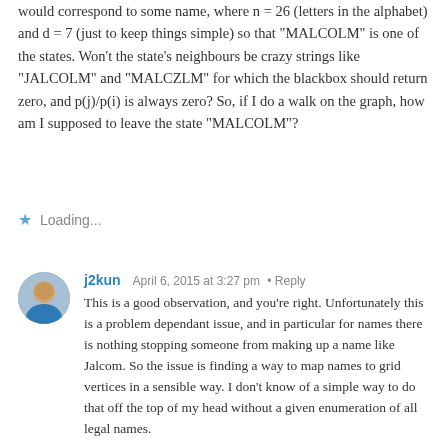would correspond to some name, where n = 26 (letters in the alphabet) and d = 7 (just to keep things simple) so that "MALCOLM" is one of the states. Won't the state's neighbours be crazy strings like "JALCOLM" and "MALCZLM" for which the blackbox should return zero, and p(j)/p(i) is always zero? So, if I do a walk on the graph, how am I supposed to leave the state "MALCOLM"?
Loading...
j2kun
April 6, 2015 at 3:27 pm • Reply
This is a good observation, and you're right. Unfortunately this is a problem dependant issue, and in particular for names there is nothing stopping someone from making up a name like Jalcom. So the issue is finding a way to map names to grid vertices in a sensible way. I don't know of a simple way to do that off the top of my head without a given enumeration of all legal names.